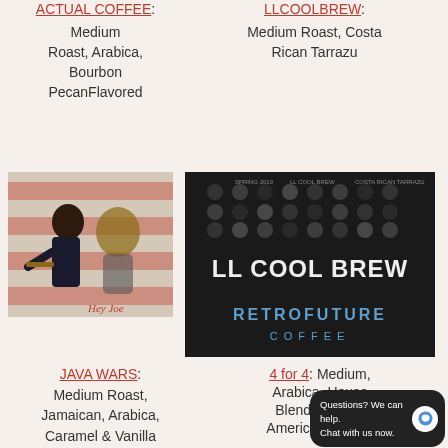ACTUAL COFFEE: Medium Roast, Arabica, Bourbon PecanFlavored
[Figure (illustration): Artistic illustration of a musician with American flag colors, signed 'Hey Joe']
LLCOOLBREW: Medium Roast, Costa Rican Tarrazu
[Figure (photo): Black and white photo with 'LL COOL BREW' text overlay and 'RETROFUTURE COFFEE' branding]
JAVA WARS: Medium Roast, Jamaican, Arabica, Caramel & Vanilla
4 for 4: Medium, Arabica, House Blend (Central American Beans)
[Figure (photo): Java Wars movie-style logo in yellow text on dark space background]
[Figure (photo): Dark circular decorative image]
Questions? We can help. Chat with us now.